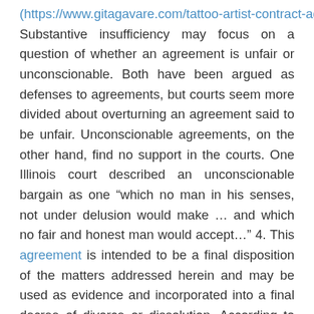(https://www.gitagavare.com/tattoo-artist-contract-agreement/). Substantive insufficiency may focus on a question of whether an agreement is unfair or unconscionable. Both have been argued as defenses to agreements, but courts seem more divided about overturning an agreement said to be unfair. Unconscionable agreements, on the other hand, find no support in the courts. One Illinois court described an unconscionable bargain as one “which no man in his senses, not under delusion would make … and which no fair and honest man would accept…” 4. This agreement is intended to be a final disposition of the matters addressed herein and may be used as evidence and incorporated into a final decree of divorce or dissolution. According to one of the claims filed last month, one vehicle’s GPS unit was “non-responsive” “further indication that the vehicle had been transferred or exported.” While I was lyin and buyin, there was also the